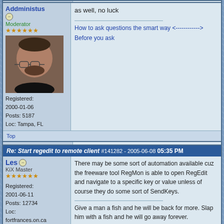as well, no luck
How to ask questions the smart way <------------>
Before you ask
Registered: 2000-01-06
Posts: 5187
Loc: Tampa, FL
Top
Re: Start regedit to remote client #141282 - 2005-06-08 05:35 PM
Les
KiX Master
Registered: 2001-06-11
Posts: 12734
Loc: fortfrances.on.ca
There may be some sort of automation available cuz the freeware tool RegMon is able to open RegEdit and navigate to a specific key or value unless of course they do some sort of SendKeys.

Give a man a fish and he will be back for more. Slap him with a fish and he will go away forever.
Top
Re: Start regedit to remote client #141283 - 2005-06-08 09:11 PM
Night
What are you tring to do on the remote machine?